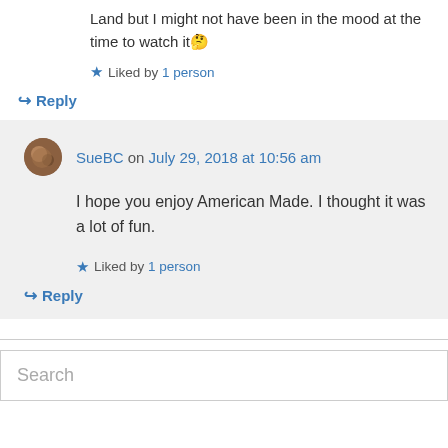Land but I might not have been in the mood at the time to watch it 🤔
★ Liked by 1 person
↪ Reply
SueBC on July 29, 2018 at 10:56 am
I hope you enjoy American Made. I thought it was a lot of fun.
★ Liked by 1 person
↪ Reply
Search